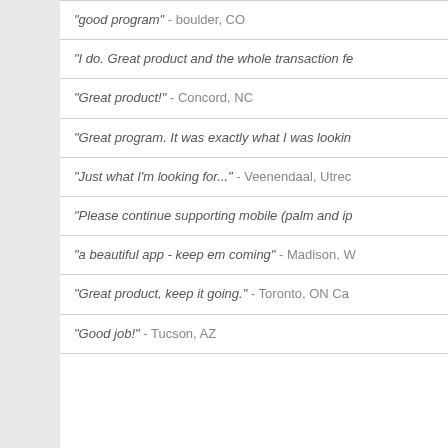"good program" - boulder, CO
"I do. Great product and the whole transaction fe...
"Great product!" - Concord, NC
"Great program. It was exactly what I was lookin...
"Just what I'm looking for..." - Veenendaal, Utrec...
"Please continue supporting mobile (palm and ip...
"a beautiful app - keep em coming" - Madison, W...
"Great product, keep it going." - Toronto, ON Ca...
"Good job!" - Tucson, AZ